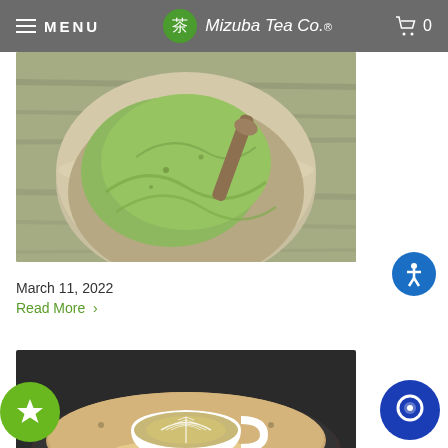MENU  Mizuba Tea Co.  🛒 0
[Figure (photo): Top-down photo of matcha green tea ice cream in a rustic ceramic bowl with a spoon, placed on a weathered wood surface]
March 11, 2022
Read More >
[Figure (photo): Top-down photo of a matcha latte with latte art in a white ceramic cup, placed on a round dark tray with a light brown surface]